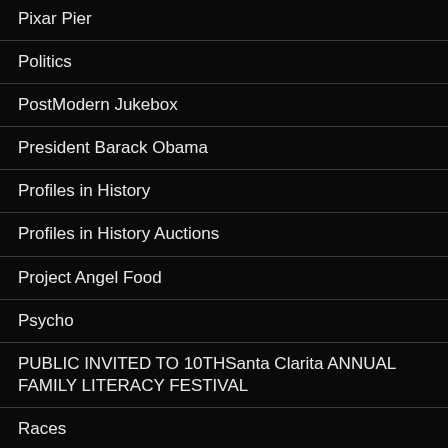Pixar Pier
Politics
PostModern Jukebox
President Barack Obama
Profiles in History
Profiles in History Auctions
Project Angel Food
Psycho
PUBLIC INVITED TO 10THSanta Clarita ANNUAL FAMILY LITERACY FESTIVAL
Races
Reagan Library
Reflections on Christmas in our time